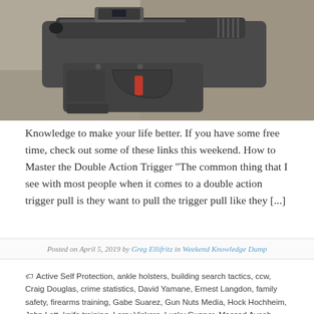[Figure (photo): Close-up photograph of a compact semi-automatic pistol (Glock-style) with a red trigger, equipped with a red dot optic sight, resting on a concrete or stone surface.]
Knowledge to make your life better. If you have some free time, check out some of these links this weekend. How to Master the Double Action Trigger “The common thing that I see with most people when it comes to a double action trigger pull is they want to pull the trigger pull like they [...]
Posted on April 5, 2019 by Greg Ellifritz in Weekend Knowledge Dump
🏷 Active Self Protection, ankle holsters, building search tactics, ccw, Craig Douglas, crime statistics, David Yamane, Ernest Langdon, family safety, firearms training, Gabe Suarez, Gun Nuts Media, Hock Hochheim, John Lott, knife training, Larry Vickers, Lucky Gunner, Massad Ayoob, Matt Jacques, Mike Seeklander, one handed shooting,